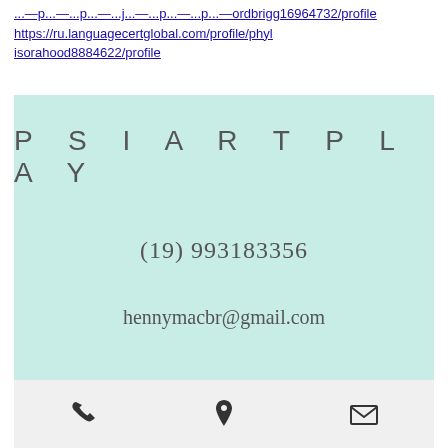https://ru.languagecertglobal.com/profile/phylisorahood8884622/profile
[Figure (infographic): Business card for PSIARTPLAY on light mint/teal background. Shows brand name 'P S I A R T P L A Y' in spaced uppercase letters, phone number '(19) 993183356', email 'hennymacbr@gmail.com', and address 'Rua Olímpio Dias Porto, 82. Parque da Hípica Campinas/SP'.]
[Figure (infographic): Footer bar with three icons: phone handset icon, location pin icon, and email envelope icon, on a light gray background.]